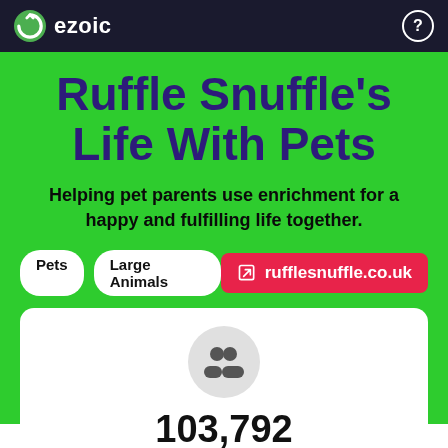ezoic
Ruffle Snuffle's Life With Pets
Helping pet parents use enrichment for a happy and fulfilling life together.
Pets
Large Animals
rufflesnuffle.co.uk
103,792